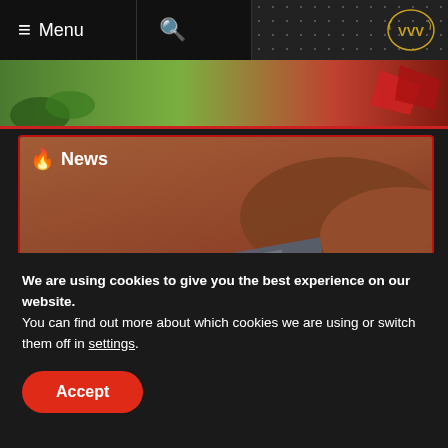≡ Menu  🔍
[Figure (screenshot): Top image strip showing partial view of a colorful scene]
[Figure (photo): Dakar Desert Rally car in action on a dusty terrain with News badge overlay showing flame icon and text 'News', with article title 'Dakar Desert Rally announced, epic map reading returns' and a red arrow button and MASCOT WORKS text]
We are using cookies to give you the best experience on our website.
You can find out more about which cookies we are using or switch them off in settings.
Accept